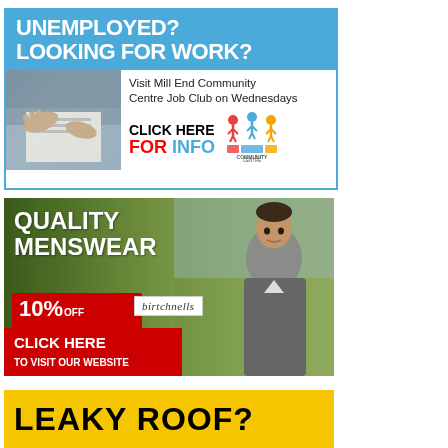[Figure (infographic): Advertisement: UNEMPLOYED? LOOKING FOR WORK? Visit Mill End Community Centre Job Club on Wednesdays. CLICK HERE FOR INFO. Shows hands on documents photo and Community Centre logo.]
[Figure (infographic): Advertisement: QUALITY MENSWEAR. 10% OFF Your first online order. birtchnells. CLICK HERE TO VISIT OUR WEBSITE. Shows man in grey sweater outdoors.]
[Figure (infographic): Advertisement: LEAKY ROOF? Yellow background with bold black text partially visible.]